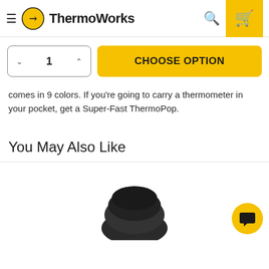ThermoWorks
comes in 9 colors. If you're going to carry a thermometer in your pocket, get a Super-Fast ThermoPop.
You May Also Like
[Figure (photo): Partial product image of a black thermometer probe/device at the bottom of the page]